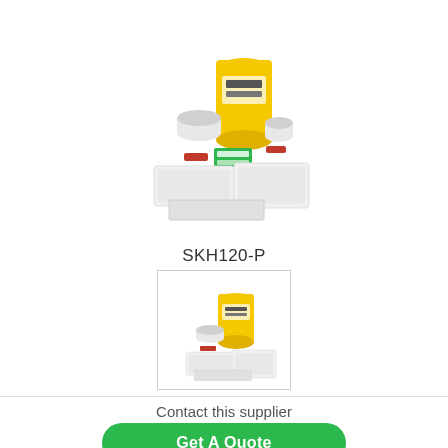[Figure (photo): Large spill kit product photo showing a yellow cylindrical bin/drum with white absorbent pads, rolls, and accessories arranged around it]
SKH120-P
[Figure (photo): Smaller thumbnail image of the same spill kit product in a bordered box]
Contact this supplier
Get A Quote